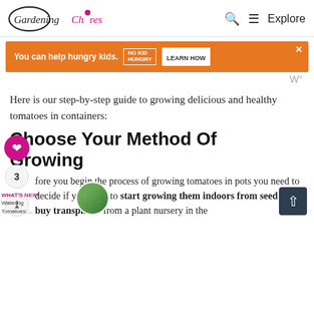Gardening Chores — Q Explore
[Figure (other): Orange advertisement banner: 'You can help hungry kids. NO KID HUNGRY LEARN HOW' with a close button]
Here is our step-by-step guide to growing delicious and healthy tomatoes in containers:
Choose Your Method Of Growing
Before you begin the process of growing tomatoes in pots you need to decide if you want to start growing them indoors from seed or buy transplants from a plant nursery in the